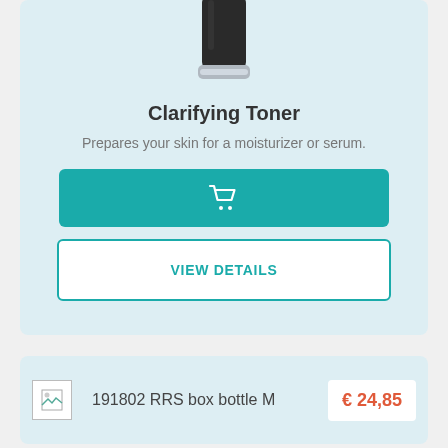[Figure (photo): Bottom portion of a dark cylindrical bottle (skincare product) with a silver/chrome base, shown cropped at top]
Clarifying Toner
Prepares your skin for a moisturizer or serum.
[Figure (other): Teal/green add-to-cart button with shopping cart icon]
[Figure (other): White VIEW DETAILS button with teal border and teal text]
[Figure (other): Product listing row with thumbnail placeholder, SKU text 191802 RRS box bottle M, and price € 24,85 in a white box]